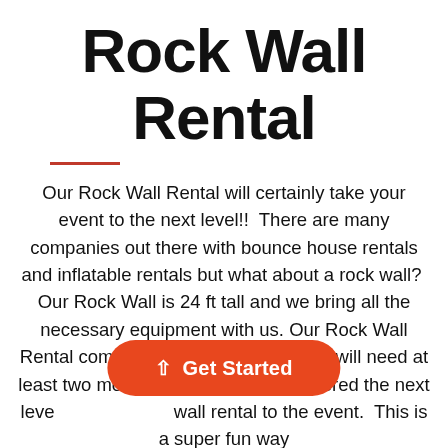Rock Wall Rental
Our Rock Wall Rental will certainly take your event to the next level!!  There are many companies out there with bounce house rentals and inflatable rentals but what about a rock wall?  Our Rock Wall is 24 ft tall and we bring all the necessary equipment with us. Our Rock Wall Rental comes with one attendant. You will need at least two more helpers. You have entered the next level with our rock wall rental to the event.  This is a super fun way
Get Started